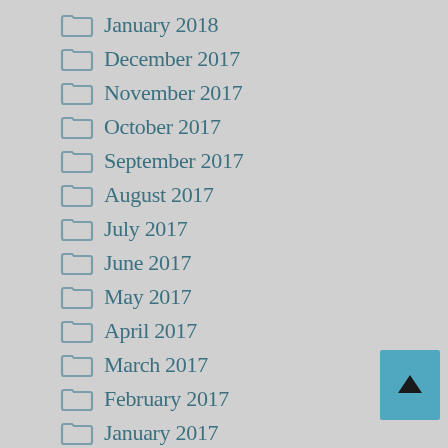January 2018
December 2017
November 2017
October 2017
September 2017
August 2017
July 2017
June 2017
May 2017
April 2017
March 2017
February 2017
January 2017
December 2016
November 2016
October 2016